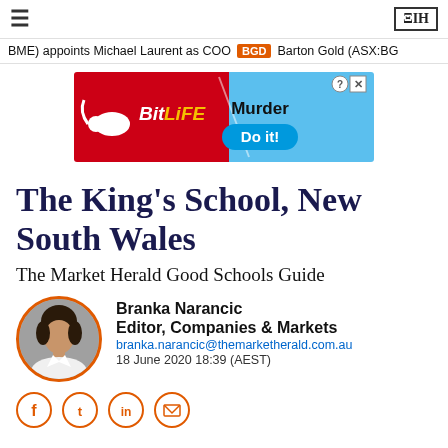≡  ΞΙΗ
BME) appoints Michael Laurent as COO  BGD  Barton Gold (ASX:BG
[Figure (illustration): BitLife mobile game advertisement banner with red background, 'Murder Do it!' text, and blue button]
The King's School, New South Wales
The Market Herald Good Schools Guide
Branka Narancic
Editor, Companies & Markets
branka.narancic@themarketherald.com.au
18 June 2020 18:39 (AEST)
[Figure (photo): Author photo of Branka Narancic, circular crop with orange border]
[Figure (other): Social sharing icons: Facebook, Twitter, LinkedIn, Email]